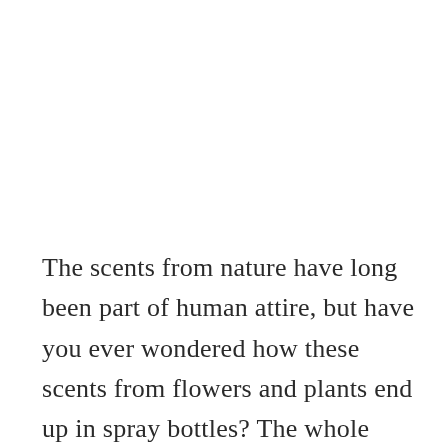The scents from nature have long been part of human attire, but have you ever wondered how these scents from flowers and plants end up in spray bottles? The whole process is known by the name fragrance extraction in the industrial sectors. It refers to the separation process of aromatic compounds from raw materials, using methods such as distillation, solvent extraction, expression, sieving, or enfleurage. The whole